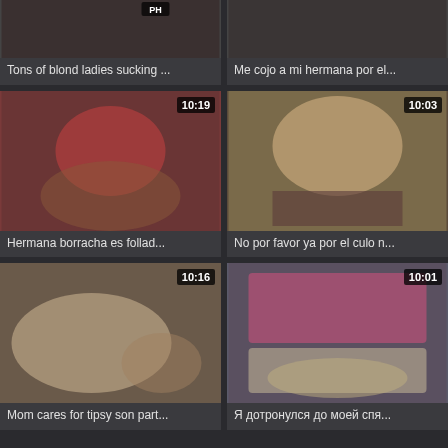[Figure (screenshot): Video thumbnail grid row 1, card 1 - partial thumbnail visible at top]
Tons of blond ladies sucking ...
[Figure (screenshot): Video thumbnail grid row 1, card 2 - partial thumbnail visible at top]
Me cojo a mi hermana por el...
[Figure (screenshot): Video thumbnail row 2, card 1 - duration 10:19]
Hermana borracha es follad...
[Figure (screenshot): Video thumbnail row 2, card 2 - duration 10:03]
No por favor ya por el culo n...
[Figure (screenshot): Video thumbnail row 3, card 1 - duration 10:16]
Mom cares for tipsy son part...
[Figure (screenshot): Video thumbnail row 3, card 2 - duration 10:01]
Я дотронулся до моей спя...